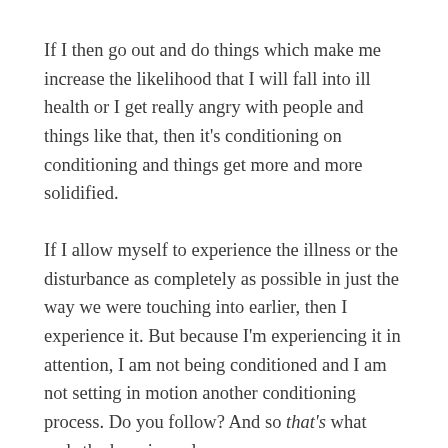If I then go out and do things which make me increase the likelihood that I will fall into ill health or I get really angry with people and things like that, then it's conditioning on conditioning and things get more and more solidified.
If I allow myself to experience the illness or the disturbance as completely as possible in just the way we were touching into earlier, then I experience it. But because I'm experiencing it in attention, I am not being conditioned and I am not setting in motion another conditioning process. Do you follow? And so that's what ends the karmic cycle.